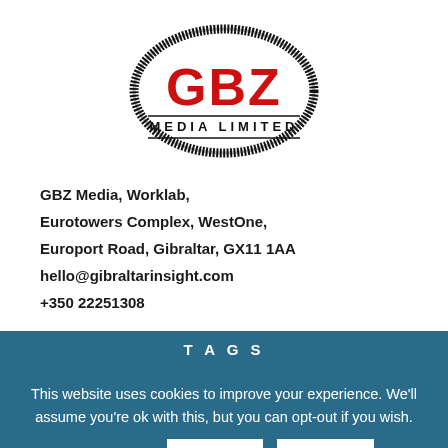[Figure (logo): GBZ Media Limited oval logo with bold red letters GBZ and black oval border, stamped style]
GBZ Media, Worklab,
Eurotowers Complex, WestOne,
Europort Road, Gibraltar, GX11 1AA
hello@gibraltarinsight.com
+350 22251308
TAGS
This website uses cookies to improve your experience. We'll assume you're ok with this, but you can opt-out if you wish.